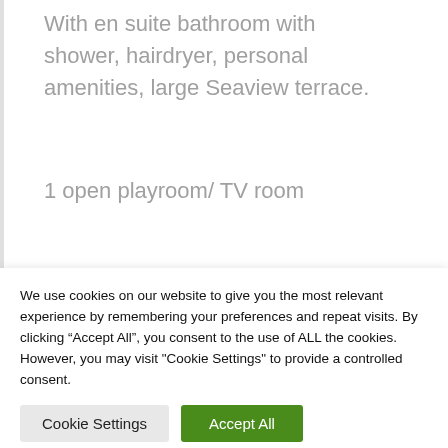With en suite bathroom with shower, hairdryer, personal amenities, large Seaview terrace.
1 open playroom/ TV room
We use cookies on our website to give you the most relevant experience by remembering your preferences and repeat visits. By clicking “Accept All”, you consent to the use of ALL the cookies. However, you may visit "Cookie Settings" to provide a controlled consent.
Cookie Settings
Accept All